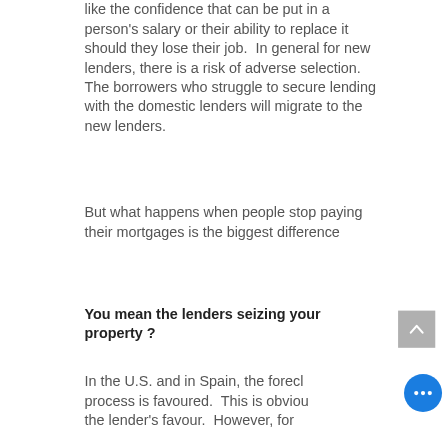like the confidence that can be put in a person's salary or their ability to replace it should they lose their job.  In general for new lenders, there is a risk of adverse selection.  The borrowers who struggle to secure lending with the domestic lenders will migrate to the new lenders.
But what happens when people stop paying their mortgages is the biggest difference
You mean the lenders seizing your property ?
In the U.S. and in Spain, the forecl... process is favoured.  This is obviou... the lender's favour.  However, for